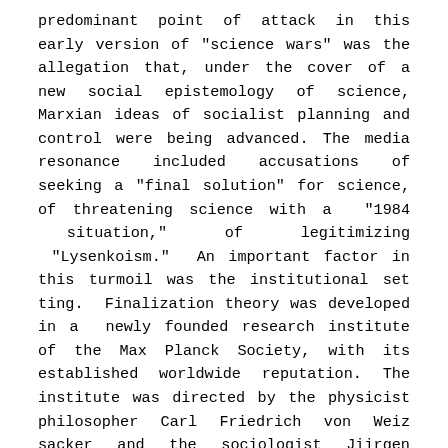predominant point of attack in this early version of "science wars" was the allegation that, under the cover of a new social epistemology of science, Marxian ideas of socialist planning and control were being advanced. The media resonance included accusations of seeking a "final solution" for science, of threatening science with a "1984 situation," of legitimizing “Lysenkoism.” An important factor in this turmoil was the institutional set ting. Finalization theory was developed in a newly founded research institute of the Max Planck Society, with its established worldwide reputation. The institute was directed by the physicist philosopher Carl Friedrich von Weiz sacker and the sociologist Jiirgen Habermas. Von Weizsacker’s public commitment for social responsibility of scientists and Habermas’s writings on "knowledge and human interests" were the hidden targets of the critics. Even if they bore no responsibility